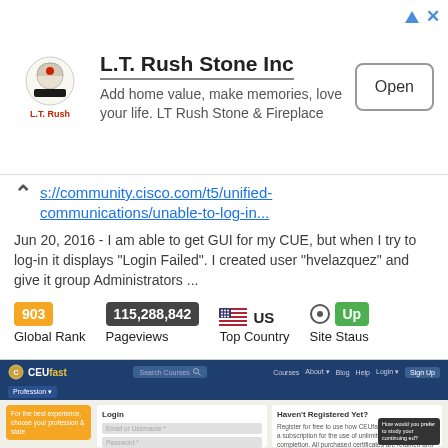[Figure (screenshot): Advertisement banner for L.T. Rush Stone Inc with logo, text 'Add home value, make memories, love your life. LT Rush Stone & Fireplace', and Open button]
s://community.cisco.com/t5/unified-communications/unable-to-log-in...
Jun 20, 2016 - I am able to get GUI for my CUE, but when I try to log-in it displays "Login Failed". I created user "hvelazquez" and give it group Administrators ...
903 Global Rank | 115,288,842 Pageviews | US Top Country | Up Site Staus
[Figure (screenshot): Screenshot of CEUfast website login page with navigation bar, login form, and Haven't Registered Yet? section]